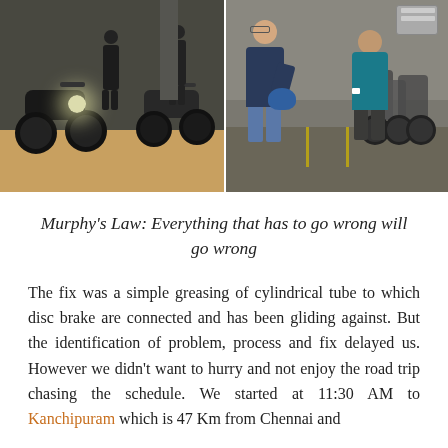[Figure (photo): Two side-by-side photos. Left photo shows motorcycles parked in a dim indoor or covered area with two people standing near them. Right photo shows two men discussing near a row of motorcycles parked outside a shop.]
Murphy's Law: Everything that has to go wrong will go wrong
The fix was a simple greasing of cylindrical tube to which disc brake are connected and has been gliding against. But the identification of problem, process and fix delayed us. However we didn't want to hurry and not enjoy the road trip chasing the schedule. We started at 11:30 AM to Kanchipuram which is 47 Km from Chennai and